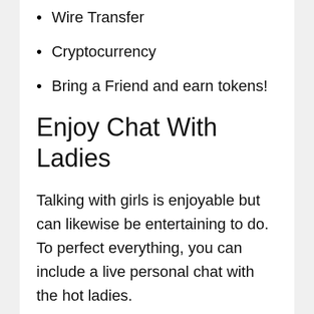Wire Transfer
Cryptocurrency
Bring a Friend and earn tokens!
Enjoy Chat With Ladies
Talking with girls is enjoyable but can likewise be entertaining to do. To perfect everything, you can include a live personal chat with the hot ladies.